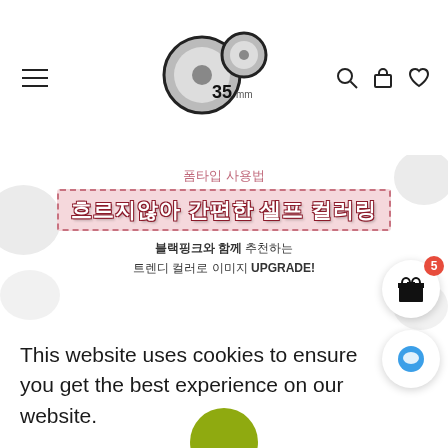[Figure (logo): 35mm brand logo with circular film reel icons and text '35mm']
[Figure (infographic): Korean promotional banner: 폼타입 사용법 header, 흐르지않아 간편한 셀프 컬러링 main title, 블랙핑크와 함께 추천하는 트렌디 컬러로 이미지 UPGRADE! subtitle]
This website uses cookies to ensure you get the best experience on our website.
Got it!